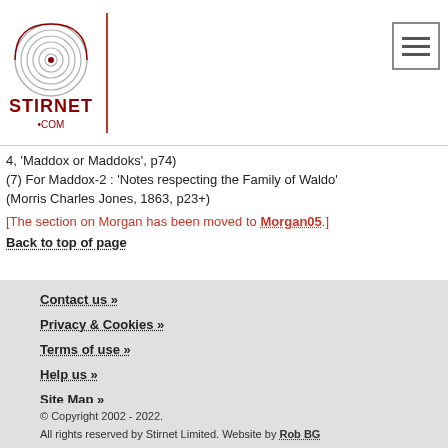Stirnet.com logo and navigation header
4, 'Maddox or Maddoks', p74)
(7) For Maddox-2 : 'Notes respecting the Family of Waldo' (Morris Charles Jones, 1863, p23+)
[The section on Morgan has been moved to Morgan05.]
Back to top of page
Contact us »
Privacy & Cookies »
Terms of use »
Help us »
Site Map »
© Copyright 2002 - 2022.
All rights reserved by Stirnet Limited. Website by Rob BG